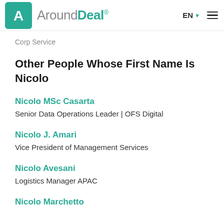AroundDeal® EN
Corp Service
Other People Whose First Name Is Nicolo
Nicolo MSc Casarta
Senior Data Operations Leader | OFS Digital
Nicolo J. Amari
Vice President of Management Services
Nicolo Avesani
Logistics Manager APAC
Nicolo Marchetto